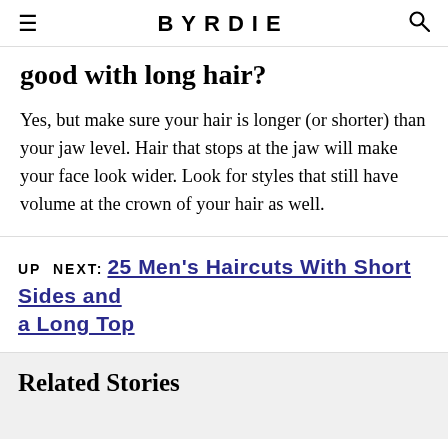BYRDIE
good with long hair?
Yes, but make sure your hair is longer (or shorter) than your jaw level. Hair that stops at the jaw will make your face look wider. Look for styles that still have volume at the crown of your hair as well.
UP NEXT: 25 Men's Haircuts With Short Sides and a Long Top
Related Stories